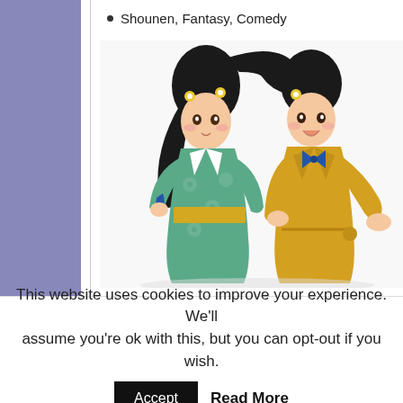Shounen, Fantasy, Comedy
[Figure (illustration): Two anime characters: a girl in a teal/green floral kimono with black hair and yellow flower clips, and a boy in a yellow coat with blue bow tie, both with black hair, standing together]
4 additional TV specials of the Bakemo
This website uses cookies to improve your experience. We'll assume you're ok with this, but you can opt-out if you wish.
Accept   Read More